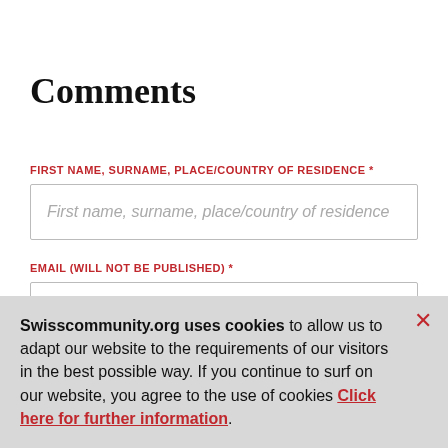Comments
FIRST NAME, SURNAME, PLACE/COUNTRY OF RESIDENCE *
First name, surname, place/country of residence
EMAIL (WILL NOT BE PUBLISHED) *
Swisscommunity.org uses cookies to allow us to adapt our website to the requirements of our visitors in the best possible way. If you continue to surf on our website, you agree to the use of cookies Click here for further information.